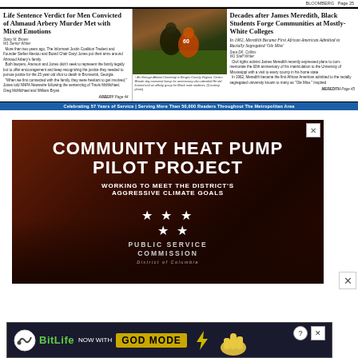BLOOMBERG Page 25
Life Sentence Verdict for Men Convicted of Ahmaud Arbery Murder Met with Mixed Emotions
Stacy M. Brown / W1 Senior Writer
More than two years ago, The Informant Justin Coalition Tre dent and Founder Stefan Alexiou and Board Chair Daryl Jones put their arms around Ahmaud Arbery's family. Both lawyers, Arenson and Jones didn't seek to represent the family legally but to offer encouragement and keep recognizing the justice they needed to pursue justice for the 25 year old shot to death in Brunswick, Georgia. "When we first connected with the family, they were hesitant to get involved," Jones told NNPA Newswire following the sentencing of Travis McMichael, Greg McMichael and William Bryan. ARBERY Page 44
[Figure (photo): Football game action photo showing players from two teams]
An Georgia Atlanta University in Bergen County Virginia. Centro Blonde day memorial lineup for anniversary also attended He did formed and an affinity group for Black male students. (Courtesy photo)
Decades after James Meredith, Black Students Forge Communities at Mostly-White Colleges
In 1962, Meredith Became First African American Admitted to Racially Segregated 'Ole Miss'
Sara DK. Collins / W1 Staff Writer
Civil rights activist James Meredith recently expressed plans to commemorate the 60th anniversary of his matriculation to the University of Mississippi with a visit to every county in his home state. In 1962, Meredith became the first African American admitted to the racially segregated university known to many as "Ole Miss." Inspired MEREDITH Page 45
Celebrating 57 Years of Service | Serving More Than 50,000 Readers Throughout The Metropolitan Area
[Figure (photo): Advertisement for Community Heat Pump Pilot Project by the Public Service Commission, District of Columbia. Dark red aerial city background with white bold text reading COMMUNITY HEAT PUMP PILOT PROJECT, WORKING TO MEET THE DISTRICT'S AGGRESSIVE CLIMATE GOALS. Stars logo for Public Service Commission District of Columbia.]
[Figure (illustration): BitLife advertisement - NOW WITH GOD MODE, showing BitLife logo in green and a pointing finger illustration with question mark and X buttons]